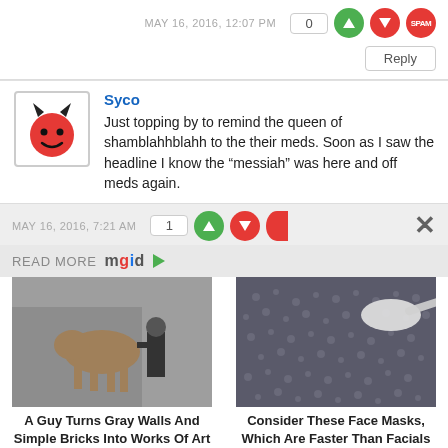MAY 16, 2016, 12:07 PM
0 [upvote] [downvote] [SPAM] Reply
Syco
Just topping by to remind the queen of shamblahhblahh to the their meds. Soon as I saw the headline I know the "messiah" was here and off meds again.
MAY 16, 2016, 7:21 AM  1 [upvote] [downvote]
READ MORE mgid ▷
[Figure (photo): Photo of a man holding a hyena on a leash against a gray wall mural]
A Guy Turns Gray Walls And Simple Bricks Into Works Of Art
[Figure (photo): Close-up photo of chia seeds in a white spoon]
Consider These Face Masks, Which Are Faster Than Facials